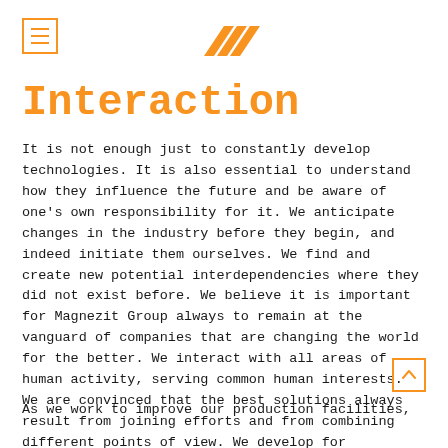[menu icon] [Magnezit Group logo]
Interaction
It is not enough just to constantly develop technologies. It is also essential to understand how they influence the future and be aware of one's own responsibility for it. We anticipate changes in the industry before they begin, and indeed initiate them ourselves. We find and create new potential interdependencies where they did not exist before. We believe it is important for Magnezit Group always to remain at the vanguard of companies that are changing the world for the better. We interact with all areas of human activity, serving common human interests. We are convinced that the best solutions always result from joining efforts and from combining different points of view. We develop for everyone's sake. Our main resource is the person — and it is infinite.
As we work to improve our production facilities,